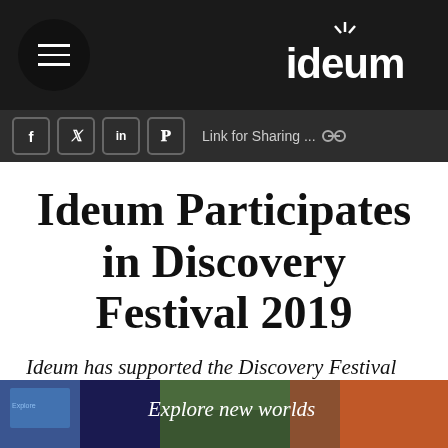ideum
Link for Sharing ...
Ideum Participates in Discovery Festival 2019
Ideum has supported the Discovery Festival for 4 years in a row.
[Figure (photo): Bottom image strip showing 'Explore new worlds' text over a colorful event scene]